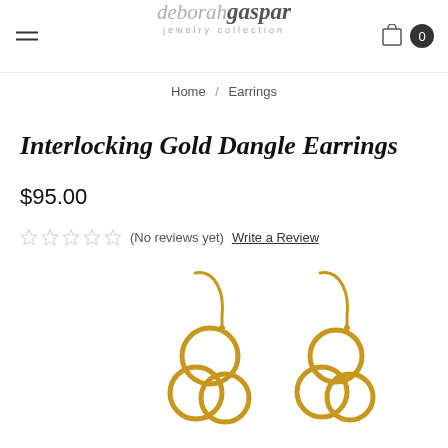deborah gaspar jewelry collection
Home / Earrings
Interlocking Gold Dangle Earrings
$95.00
(No reviews yet) Write a Review
[Figure (photo): Two gold interlocking ring dangle earrings with hook earwires, showing multiple gold circles linked together]